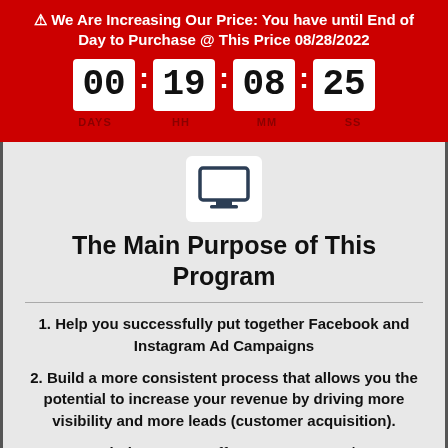⚠ We Are Increasing Our Price: You have until End of Day to Purchase @ This Price 08/28/2022
[Figure (other): Countdown timer showing 00 days, 19 hours, 08 minutes, 25 seconds]
[Figure (illustration): Desktop monitor icon]
The Main Purpose of This Program
1. Help you successfully put together Facebook and Instagram Ad Campaigns
2. Build a more consistent process that allows you the potential to increase your revenue by driving more visibility and more leads (customer acquisition).
3. Get clarity on your offer, your message/copy,